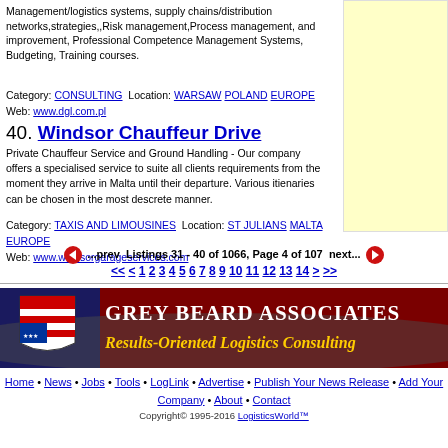Management/logistics systems, supply chains/distribution networks,strategies,,Risk management,Process management, and improvement, Professional Competence Management Systems, Budgeting, Training courses.
Category: CONSULTING  Location: WARSAW  POLAND  EUROPE
Web: www.dgl.com.pl
40. Windsor Chauffeur Drive
Private Chauffeur Service and Ground Handling - Our company offers a specialised service to suite all clients requirements from the moment they arrive in Malta until their departure. Various itienaries can be chosen in the most descrete manner.
Category: TAXIS AND LIMOUSINES  Location: ST JULIANS  MALTA  EUROPE
Web: www.windsorgarageservices.com
◄ ...prev  Listings 31 - 40 of 1066, Page 4 of 107  next... ►
<< < 1 2 3 4 5 6 7 8 9 10 11 12 13 14 > >>
[Figure (illustration): Grey Beard Associates banner - Results-Oriented Logistics Consulting with American flag shield logo on dark red/blue background]
Home • News • Jobs • Tools • LogLink • Advertise • Publish Your News Release • Add Your Company • About • Contact
Copyright© 1995-2016 LogisticsWorld™